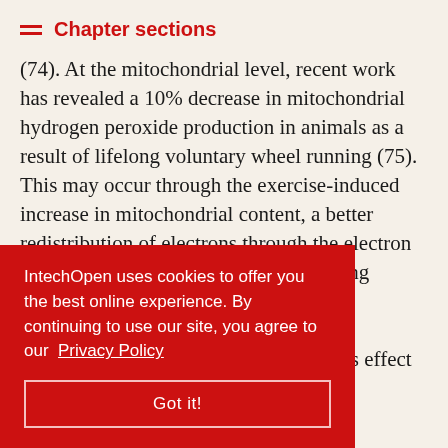Chapter sections
(74). At the mitochondrial level, recent work has revealed a 10% decrease in mitochondrial hydrogen peroxide production in animals as a result of lifelong voluntary wheel running (75). This may occur through the exercise-induced increase in mitochondrial content, a better redistribution of electrons through the electron transport chain, and (or) a better coupling between oxygen consumption and ATP synthesis in the exercised muscle of old animals. The precise mechanism for this effect
IntechOpen uses cookies to offer you the best online experience. By continuing to use our site, you agree to our Privacy Policy
Got it!